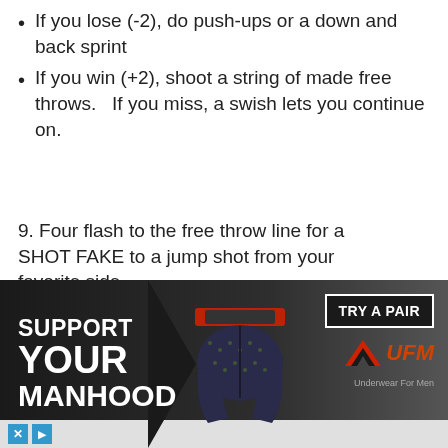If you lose (-2), do push-ups or a down and back sprint
If you win (+2), shoot a string of made free throws.   If you miss, a swish lets you continue on.
9. Four flash to the free throw line for a SHOT FAKE to a jump shot from your favorite side
10. Four flash to the free throw line for a SHOT FAKE to a jump shot from your non-favorite side
11. Four step out to the short corner for a... [partially obscured by advertisement]
[Figure (screenshot): Advertisement banner for UFM underwear showing 'SUPPORT YOUR MANHOOD' text with product image and 'TRY A PAIR' button and UFM logo]